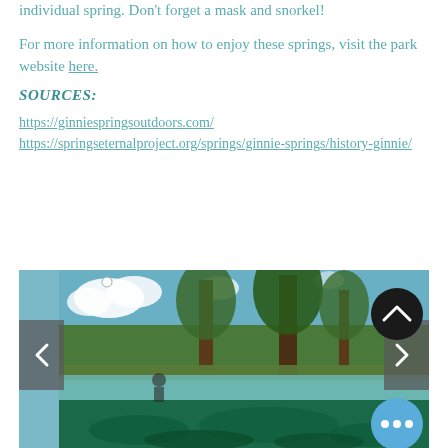individual spring. Don't forget a mask and snorkel!
For more information on how to enjoy these springs, visit the park website here.
SOURCES:
https://ginniespringsoutdoors.com/
https://springseternalproject.org/springs/ginnie-springs/history-ginnie/
[Figure (photo): Outdoor spring scene showing clear turquoise-green water with trees and blue sky above, split-view showing underwater and above water. Image carousel with left/right navigation arrows, scroll-to-top button (dark circle with chevron), and more options button (blue circle with three dots).]